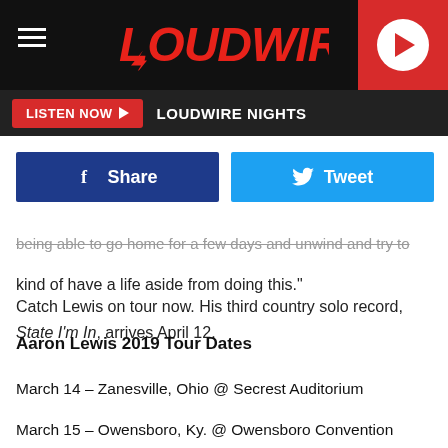LOUDWIRE
LISTEN NOW  LOUDWIRE NIGHTS
being able to go home for a few days and unwind and try to kind of have a life aside from doing this."
Catch Lewis on tour now. His third country solo record, State I'm In, arrives April 12.
Aaron Lewis 2019 Tour Dates
March 14 – Zanesville, Ohio @ Secrest Auditorium
March 15 – Owensboro, Ky. @ Owensboro Convention Center
March 16 – Huntington, W.V. @ Big Sandy Superstore Arena
March 21 – Madison, Wis. @The Barrymore Theater
March 22 – New Buffalo, Mich. @ Four Winds Casino